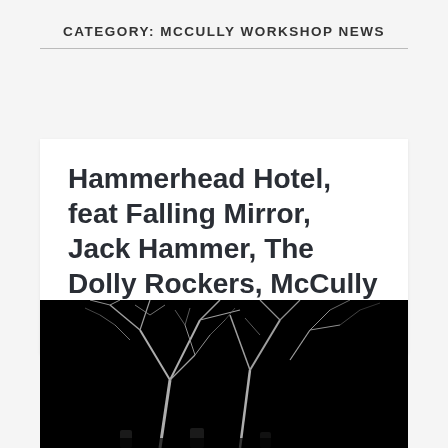CATEGORY: MCCULLY WORKSHOP NEWS
Hammerhead Hotel, feat Falling Mirror, Jack Hammer, The Dolly Rockers, McCully Workshop, Radio Rats
[Figure (photo): Black and white photo showing a dark tree canopy with bare branches against a black background, with faint figures visible at the bottom edge.]